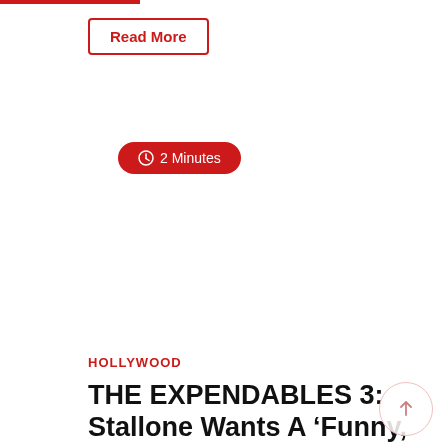Read More
2 Minutes
HOLLYWOOD
THE EXPENDABLES 3: Stallone Wants A ‘Funny, Tough and Real Woman’